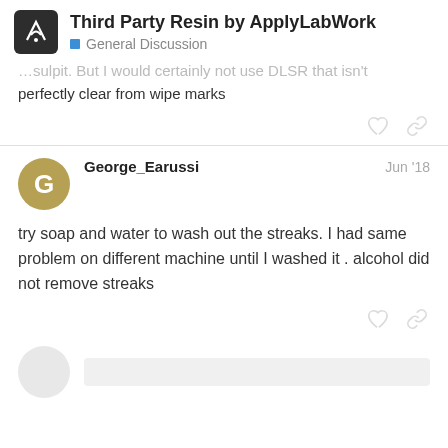Third Party Resin by ApplyLabWork — General Discussion
...perfectly clear from wipe marks
George_Earussi   Jun '18
try soap and water to wash out the streaks. I had same problem on different machine until I washed it . alcohol did not remove streaks